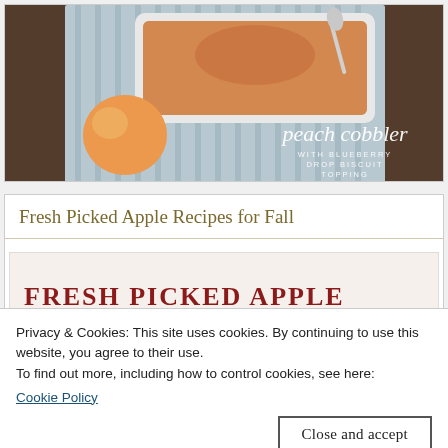[Figure (photo): Food photo showing a peach cobbler with blueberry drop biscuit topping in a white baking dish with a spoon, on a striped cloth, with a fresh peach beside it. Text overlay reads 'peach cobbler WITH BLUEBERRY DROP BISCUIT TOPPING'.]
Fresh Picked Apple Recipes for Fall
[Figure (photo): Partial view of a card with text 'FRESH PICKED APPLE' in bold dark red uppercase letters, partially obscured by cookie consent banner.]
Privacy & Cookies: This site uses cookies. By continuing to use this website, you agree to their use.
To find out more, including how to control cookies, see here:
Cookie Policy
Close and accept